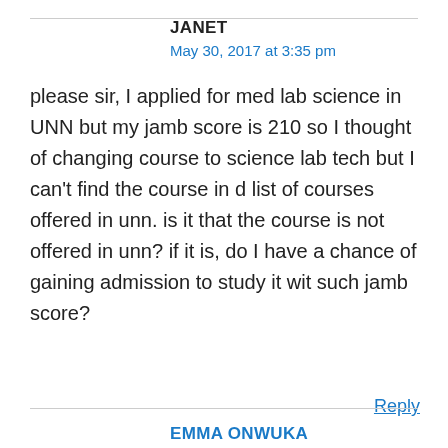JANET
May 30, 2017 at 3:35 pm
please sir, I applied for med lab science in UNN but my jamb score is 210 so I thought of changing course to science lab tech but I can't find the course in d list of courses offered in unn. is it that the course is not offered in unn? if it is, do I have a chance of gaining admission to study it wit such jamb score?
Reply
EMMA ONWUKA
May 31, 2017 at 11:59 pm